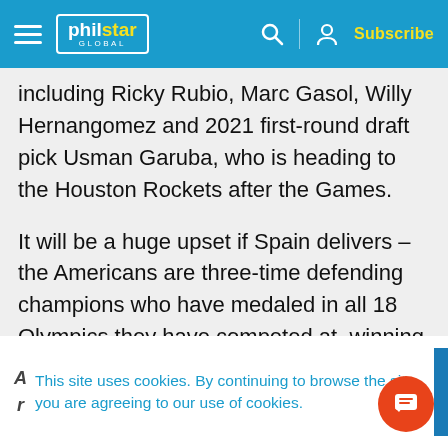philstar GLOBAL — Subscribe
including Ricky Rubio, Marc Gasol, Willy Hernangomez and 2021 first-round draft pick Usman Garuba, who is heading to the Houston Rockets after the Games.
It will be a huge upset if Spain delivers – the Americans are three-time defending champions who have medaled in all 18 Olympics they have competed at, winning 15 gold, a silver and two bronze.
This site uses cookies. By continuing to browse the site, you are agreeing to our use of cookies.